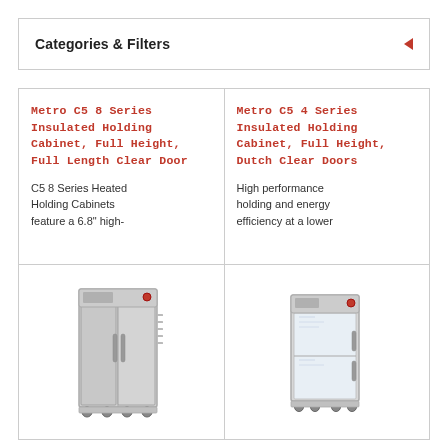Categories & Filters
Metro C5 8 Series Insulated Holding Cabinet, Full Height, Full Length Clear Door
C5 8 Series Heated Holding Cabinets feature a 6.8" high-
[Figure (photo): Metro C5 8 Series full-height insulated holding cabinet on casters, silver/stainless finish]
Metro C5 4 Series Insulated Holding Cabinet, Full Height, Dutch Clear Doors
High performance holding and energy efficiency at a lower
[Figure (photo): Metro C5 4 Series full-height insulated holding cabinet with clear dutch doors on casters, silver finish]